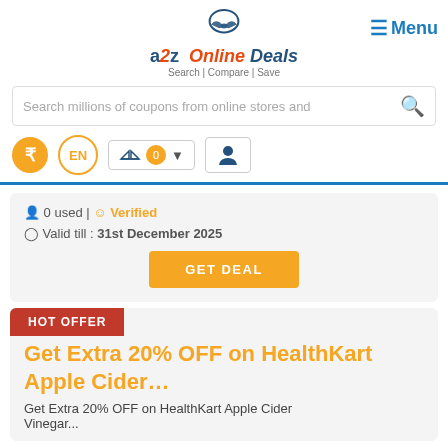[Figure (logo): a2z Online Deals logo with handshake icon and tagline 'Search | Compare | Save']
≡ Menu
Search millions of coupons from online stores and
₹  EN  ⚖ 0 ▾  👤
👤 0 used | 😊 Verified
🕐 Valid till : 31st December 2025
GET DEAL
HOT OFFER
Get Extra 20% OFF on HealthKart Apple Cider…
Get Extra 20% OFF on HealthKart Apple Cider Vinegar...